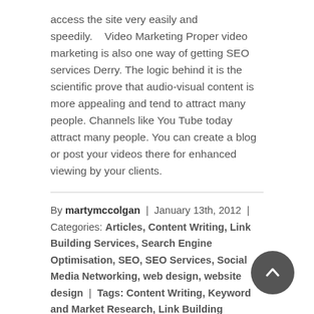access the site very easily and speedily.    Video Marketing Proper video marketing is also one way of getting SEO services Derry. The logic behind it is the scientific prove that audio-visual content is more appealing and tend to attract many people. Channels like You Tube today attract many people. You can create a blog or post your videos there for enhanced viewing by your clients.
By martymccolgan | January 13th, 2012 | Categories: Articles, Content Writing, Link Building Services, Search Engine Optimisation, SEO, SEO Services, Social Media Networking, web design, website design | Tags: Content Writing, Keyword and Market Research, Link Building Services, search engine optimisation, seo, seo services, Social Media Networking, Video Marketing, web design, web design belfast, web design northern ireland, website design | Comments Off
Read More >